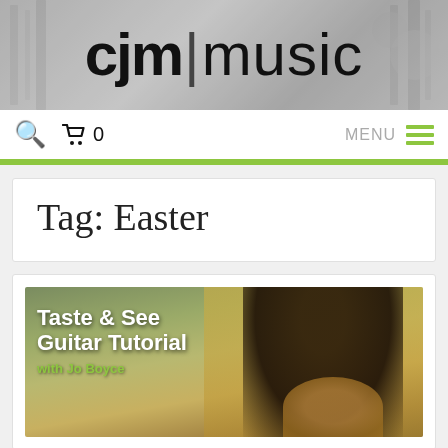[Figure (logo): CJM Music logo in large bold black text on grey banner background]
🔍  🛒 0   MENU ≡
Tag: Easter
[Figure (photo): Taste & See Guitar Tutorial with Jo Boyce - thumbnail image showing a person smiling and holding a guitar, with overlay text]